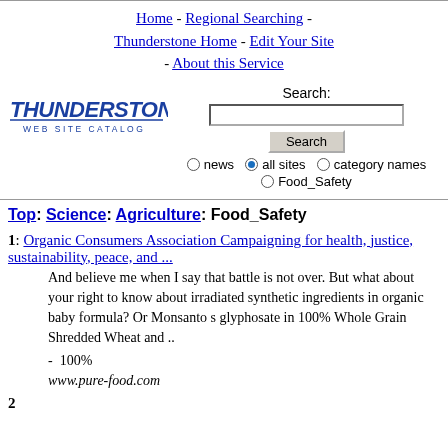Home - Regional Searching - Thunderstone Home - Edit Your Site - About this Service
[Figure (logo): Thunderstone Web Site Catalog logo]
Search: [search box] [Search button] radio: news | all sites (selected) | category names | Food_Safety
Top: Science: Agriculture: Food_Safety
1: Organic Consumers Association Campaigning for health, justice, sustainability, peace, and ... And believe me when I say that battle is not over. But what about your right to know about irradiated synthetic ingredients in organic baby formula? Or Monsanto s glyphosate in 100% Whole Grain Shredded Wheat and .. - 100% www.pure-food.com
2: (partial, cut off)